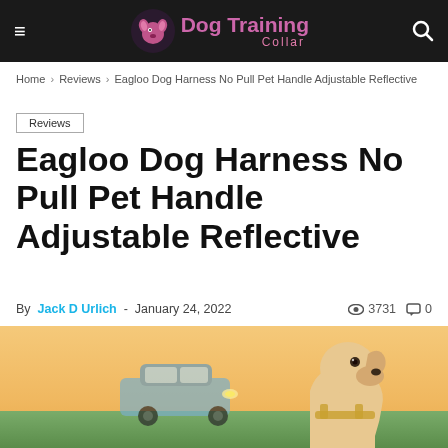Dog Training Collar
Home › Reviews › Eagloo Dog Harness No Pull Pet Handle Adjustable Reflective
Reviews
Eagloo Dog Harness No Pull Pet Handle Adjustable Reflective
By Jack D Urlich - January 24, 2022   3731   0
[Figure (photo): A dog wearing a harness looking to the right, with a car in the blurred background, warm sunset lighting]